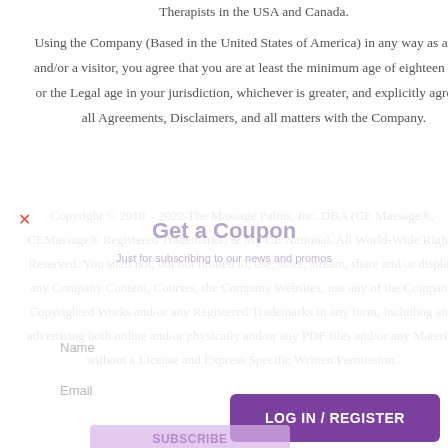Therapists in the USA and Canada.
Using the Company (Based in the United States of America) in any way as a user and/or a visitor, you agree that you are at least the minimum age of eighteen (18), or the Legal age in your jurisdiction, whichever is greater, and explicitly agree to all Agreements, Disclaimers, and all matters with the Company.
Copyright © 2010 – 2022 The Massage Palms, Inc. DBA (CE Massage®, CEMassage® Registered Trademarks) & My CE National. All World-Wide Rights Reserved. You shall not, but not limited to, use, store, stream, share and/or display any Company Content, Courses, the Company Websites, use any of the Company Copyrighted Works and/or any Registered Trademarks in any form, including any advertising both online and/or physically and/or any PDF files and/or any Material without a License and Express Specific Written Permission.
Get a Coupon
Just for subscribing to our news and promos
Name
Email
LOG IN / REGISTER
SUBSCRIBE